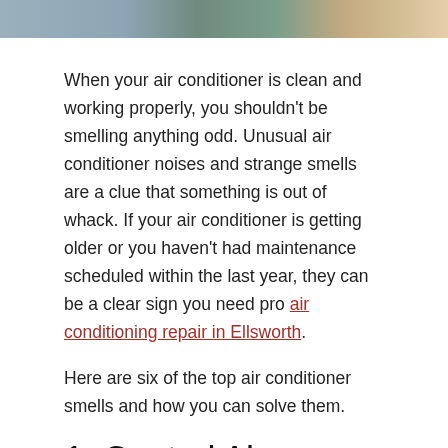[Figure (photo): Top portion of a photo showing what appears to be a gray sofa on the left and a person in a green top on the right, with a white appliance partially visible at the far right.]
When your air conditioner is clean and working properly, you shouldn't be smelling anything odd. Unusual air conditioner noises and strange smells are a clue that something is out of whack. If your air conditioner is getting older or you haven't had maintenance scheduled within the last year, they can be a clear sign you need pro air conditioning repair in Ellsworth.
Here are six of the top air conditioner smells and how you can solve them.
1. Central Air Conditioner Smells Like Chemicals
If your air conditioner smells bad when turned on